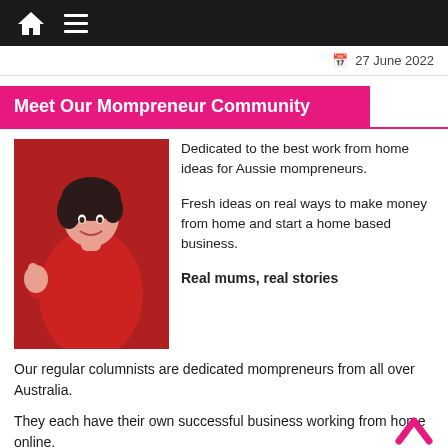Navigation bar with home icon and menu
27 June 2022
Meet Our Mompreneur Community
[Figure (photo): Woman in red dress giving thumbs up, smiling, against red background]
Dedicated to the best work from home ideas for Aussie mompreneurs.

Fresh ideas on real ways to make money from home and start a home based business.

Real mums, real stories
Our regular columnists are dedicated mompreneurs from all over Australia.
They each have their own successful business working from home online.
They are passionate mums who love to share their best tips to